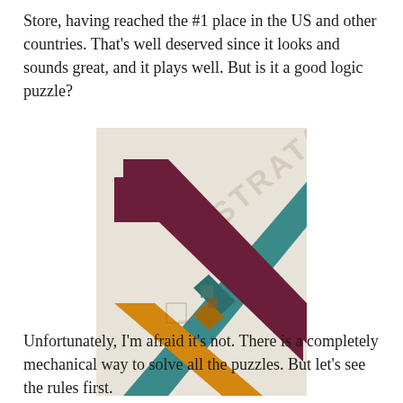Store, having reached the #1 place in the US and other countries. That's well deserved since it looks and sounds great, and it plays well. But is it a good logic puzzle?
[Figure (illustration): Screenshot of the Strata puzzle game app showing three colored diagonal ribbons (dark red/maroon, teal/dark cyan, and orange/yellow) crossing and interweaving each other at the center on a light beige background. A watermark reading 'STRATA' appears diagonally across the image.]
Unfortunately, I'm afraid it's not. There is a completely mechanical way to solve all the puzzles. But let's see the rules first.